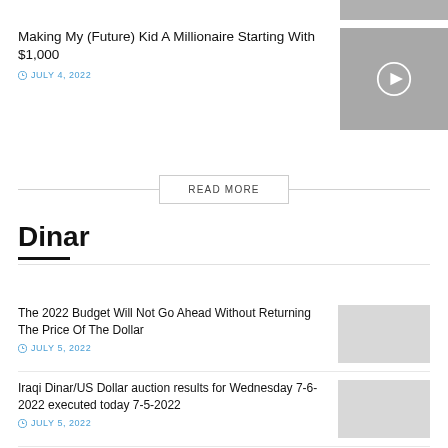Making My (Future) Kid A Millionaire Starting With $1,000
JULY 4, 2022
[Figure (photo): Video thumbnail with play button]
READ MORE
Dinar
The 2022 Budget Will Not Go Ahead Without Returning The Price Of The Dollar
JULY 5, 2022
[Figure (photo): Article thumbnail image placeholder]
Iraqi Dinar/US Dollar auction results for Wednesday 7-6-2022 executed today 7-5-2022
JULY 5, 2022
[Figure (photo): Article thumbnail image placeholder]
Iraq Achieves A Financial Surplus Of More Than 15